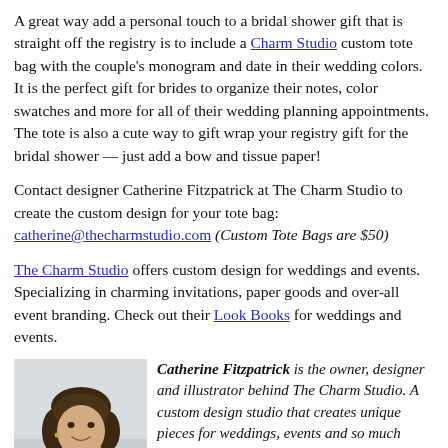A great way add a personal touch to a bridal shower gift that is straight off the registry is to include a Charm Studio custom tote bag with the couple's monogram and date in their wedding colors. It is the perfect gift for brides to organize their notes, color swatches and more for all of their wedding planning appointments. The tote is also a cute way to gift wrap your registry gift for the bridal shower — just add a bow and tissue paper!
Contact designer Catherine Fitzpatrick at The Charm Studio to create the custom design for your tote bag: catherine@thecharmstudio.com (Custom Tote Bags are $50)
The Charm Studio offers custom design for weddings and events. Specializing in charming invitations, paper goods and over-all event branding. Check out their Look Books for weddings and events.
[Figure (photo): Headshot photo of Catherine Fitzpatrick, a woman with dark hair, smiling, against a light background.]
Catherine Fitzpatrick is the owner, designer and illustrator behind The Charm Studio. A custom design studio that creates unique pieces for weddings, events and so much more. Before starting her own business, Catherine worked as a designer for a major publishing company and a large advertising agency in